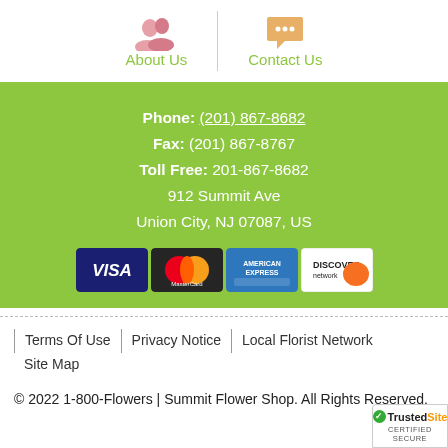[Figure (other): About Us icon (pink people silhouette) and Contact Us icon (orange speech bubble) navigation links on white background]
Phone: (201) 867-8682
Fax: (201) 867-8767
Toll Free: 201-867-8682
912 Summit Ave
Union City, NJ 07087, US
[Figure (other): Payment card logos: Visa, MasterCard, American Express, Discover]
Terms Of Use | Privacy Notice | Local Florist Network Site Map
© 2022 1-800-Flowers | Summit Flower Shop. All Rights Reserved.
[Figure (logo): TrustedSite CERTIFIED SECURE badge]